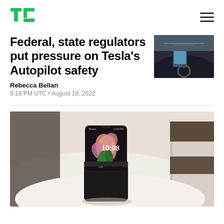TechCrunch
Federal, state regulators put pressure on Tesla's Autopilot safety
[Figure (photo): Tesla car interior showing dashboard and autopilot screen with road view]
Rebecca Bellan
9:18 PM UTC • August 18, 2022
[Figure (photo): Samsung Galaxy Z Flip foldable smartphone propped open on a white table next to a coffee cup]